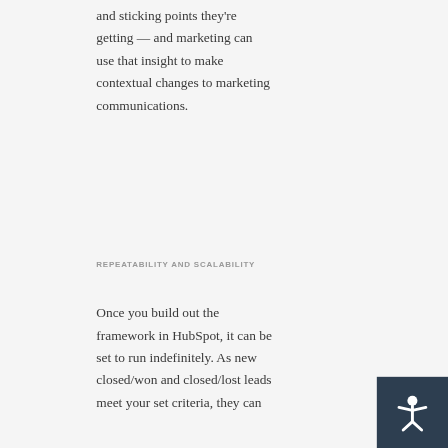and sticking points they're getting — and marketing can use that insight to make contextual changes to marketing communications.
REPEATABILITY AND SCALABILITY
Once you build out the framework in HubSpot, it can be set to run indefinitely. As new closed/won and closed/lost leads meet your set criteria, they can
[Figure (other): Accessibility icon (person with outstretched arms) in white on dark blue background, bottom-right corner]